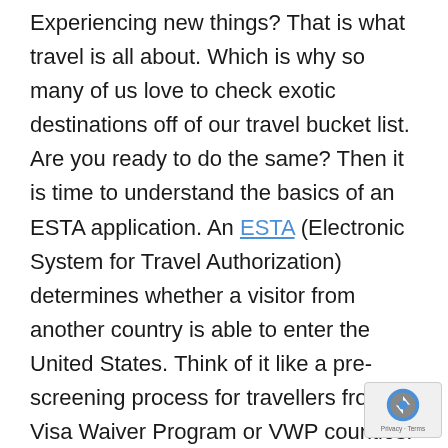Experiencing new things? That is what travel is all about. Which is why so many of us love to check exotic destinations off of our travel bucket list. Are you ready to do the same? Then it is time to understand the basics of an ESTA application. An ESTA (Electronic System for Travel Authorization) determines whether a visitor from another country is able to enter the United States. Think of it like a pre-screening process for travellers from Visa Waiver Program or VWP counties. What does it do? An ESTA allows travellers to enter into the United Sates for 90 days – either for pleasure or for busi... Now that you know what an ESTA is it is important to determine whether you need it. If